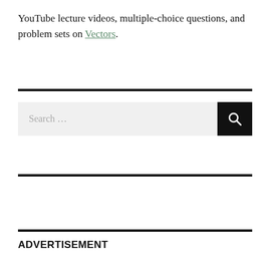YouTube lecture videos, multiple-choice questions, and problem sets on Vectors.
[Figure (other): Search bar with text 'Search ...' and a black search button with magnifying glass icon]
ADVERTISEMENT